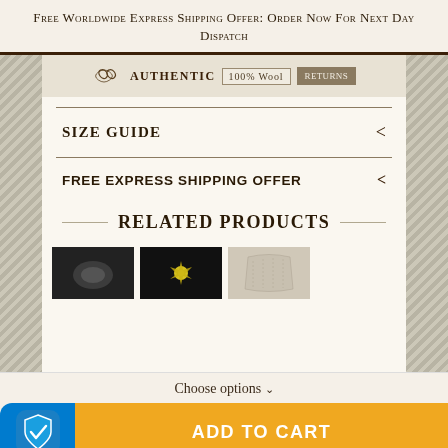Free Worldwide Express Shipping Offer: Order Now For Next Day Dispatch
[Figure (screenshot): Product page screenshot showing authentic Celtic/wool product badges including a Celtic knot logo, 'AUTHENTIC', '100% Wool' label, and a returns badge]
SIZE GUIDE
FREE EXPRESS SHIPPING OFFER
RELATED PRODUCTS
[Figure (photo): Row of product thumbnails showing related products including knitwear items]
Choose options ∨
ADD TO CART